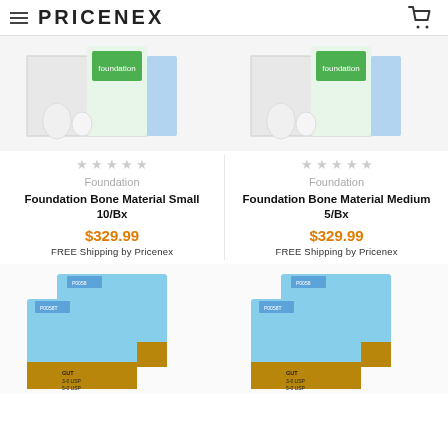PRICENEX
[Figure (photo): Foundation Bone Material Small 10/Bx product image showing white box with green Foundation branding and bottles]
[Figure (photo): Foundation Bone Material Medium 5/Bx product image showing white box with green Foundation branding and bottles]
Foundation
Foundation Bone Material Small 10/Bx
$329.99
FREE Shipping by Pricenex
Foundation
Foundation Bone Material Medium 5/Bx
$329.99
FREE Shipping by Pricenex
[Figure (photo): Suture product boxes with blue and tan/gold packaging, GUT 3-0 USP and 5-0 USP labels]
[Figure (photo): Suture product boxes with blue and tan/gold packaging, GUT 3-0 USP and 5-0 USP labels]